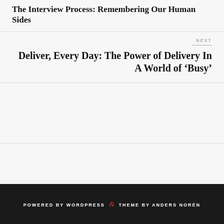The Interview Process: Remembering Our Human Sides
NEXT
Deliver, Every Day: The Power of Delivery In A World of ‘Busy’
POWERED BY WORDPRESS & THEME BY ANDERS NORÉN